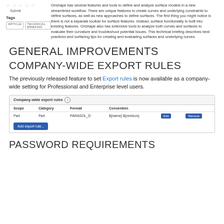Onshape has several features and tools to define and analyze surface models in a new streamlined workflow. There are unique features to create curves and underlying constraints to define surfaces, as well as new approaches to define surfaces. The first thing you might notice is there is not a separate toolbar for surface features. Instead, surface functionality is built into existing features. Onshape also has extensive tools to analyze both curves and surfaces to evaluate their curvature and troubleshoot potential issues. This technical briefing describes best practices and surfacing tips for creating and evaluating surfaces and underlying curves.
Tags
ARTICLE   TECHNICAL BRIEFING
GENERAL IMPROVEMENTS
COMPANY-WIDE EXPORT RULES
The previously released feature to set Export rules is now available as a company-wide setting for Professional and Enterprise level users.
[Figure (screenshot): Company-wide export rules dialog showing a table with columns Scope, Category, Format, Convention. One row: Part, Part, PARASOL_D, ${name} ${revision}. Edit and Remove buttons. Add export rule... button at bottom.]
PASSWORD REQUIREMENTS